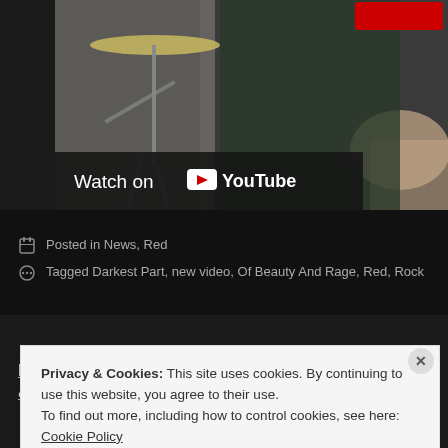[Figure (screenshot): YouTube video thumbnail showing a musician with a cymbal stand in the background, with a 'Watch on YouTube' bar overlay and a red subscribe button in the upper right corner]
Posted in News, Red
Tagged Darkest Part, new video, Of Beauty And Rage, Red, Rock
Red Announce 2015 Headlining Tour With Islander & 3 Ye...
Privacy & Cookies: This site uses cookies. By continuing to use this website, you agree to their use.
To find out more, including how to control cookies, see here: Cookie Policy
Close and accept